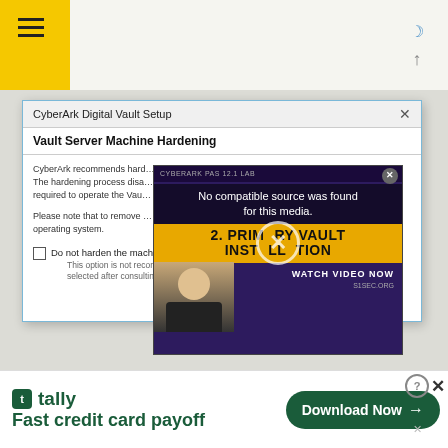The server hardening can't be reversed.
[Figure (screenshot): CyberArk Digital Vault Setup dialog showing Vault Server Machine Hardening with a video overlay saying 'No compatible source was found for this media.' over a '2. PRIMARY VAULT INSTALLATION' banner. Dialog body includes text about CyberArk recommending hardening, checkbox 'Do not harden the machine.']
[Figure (screenshot): Tally advertisement banner: 'Fast credit card payoff' with Download Now button]